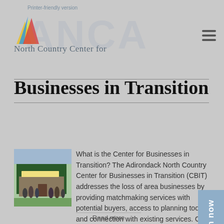Printer-friendly version
[Figure (logo): ANCA North Country Center for Businesses in Transition logo with colorful triangle and watermark text]
Businesses in Transition
[Figure (photo): People standing in front of a green building with Ward Lumber signage]
What is the Center for Businesses in Transition? The Adirondack North Country Center for Businesses in Transition (CBIT) addresses the loss of area businesses by providing matchmaking services with potential buyers, access to planning tools and connection with existing services. CBIT is a dynamic partnership between regional organizations and individuals invested in the retention of local businesses and the future...
Read more